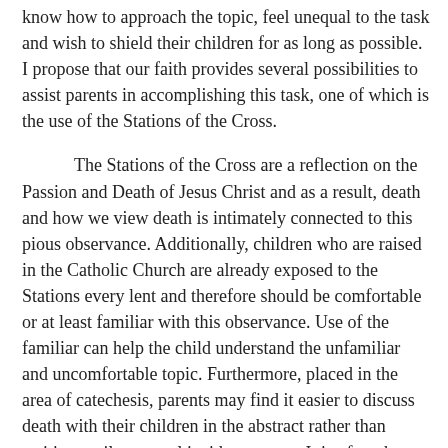know how to approach the topic, feel unequal to the task and wish to shield their children for as long as possible. I propose that our faith provides several possibilities to assist parents in accomplishing this task, one of which is the use of the Stations of the Cross.
The Stations of the Cross are a reflection on the Passion and Death of Jesus Christ and as a result, death and how we view death is intimately connected to this pious observance. Additionally, children who are raised in the Catholic Church are already exposed to the Stations every lent and therefore should be comfortable or at least familiar with this observance. Use of the familiar can help the child understand the unfamiliar and uncomfortable topic. Furthermore, placed in the area of catechesis, parents may find it easier to discuss death with their children in the abstract rather than waiting until an actual incident occurs. It is often the case that the biggest obstacle to discussion of serious subjects between parent and children is the lack of a way to